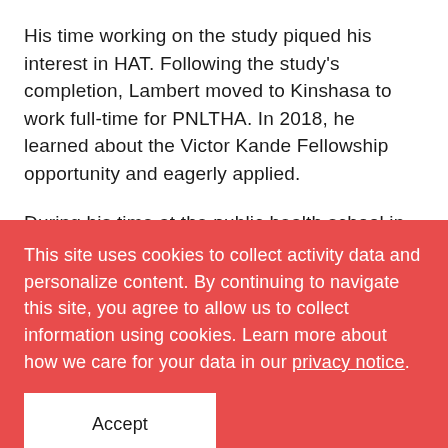His time working on the study piqued his interest in HAT. Following the study's completion, Lambert moved to Kinshasa to work full-time for PNLTHA. In 2018, he learned about the Victor Kande Fellowship opportunity and eagerly applied.
During his time at the public health school in Kinshasa, Lambert says he learned about everything
This site uses cookies to collect activity data and personalize content. By continuing to navigate this site, you agree to allow us to collect information using cookies. Learn more about how we care for your data in our privacy notice.